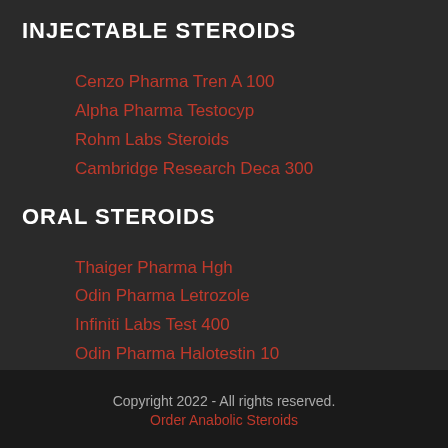INJECTABLE STEROIDS
Cenzo Pharma Tren A 100
Alpha Pharma Testocyp
Rohm Labs Steroids
Cambridge Research Deca 300
ORAL STEROIDS
Thaiger Pharma Hgh
Odin Pharma Letrozole
Infiniti Labs Test 400
Odin Pharma Halotestin 10
Copyright 2022 - All rights reserved.
Order Anabolic Steroids